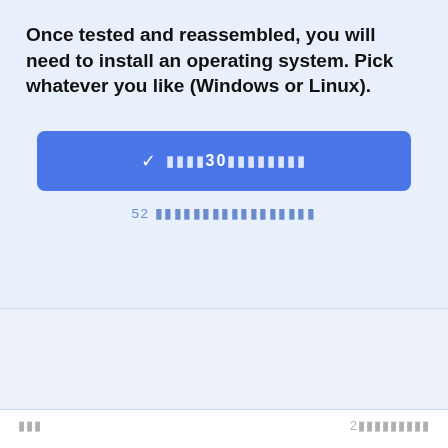Once tested and reassembled, you will need to install an operating system. Pick whatever you like (Windows or Linux).
[Figure (other): Blue vote/answer button with checkmark icon and garbled text including '30', centered on light blue background]
52 [garbled text - vote count indicator]
[garbled label text]
2[garbled text]
Nick
[garbled]: 2009年11月10日
[Figure (photo): Profile avatar photo showing a white and black cat]